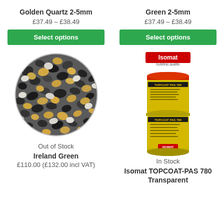Golden Quartz 2-5mm
£37.49 – £38.49
Select options
Green 2-5mm
£37.49 – £38.49
Select options
[Figure (photo): Circular close-up photo of Ireland Green aggregate/gravel mix showing dark grey, black and golden/beige stones]
[Figure (photo): Photo of two stacked Isomat TOPCOAT-PAS 780 yellow and black cylindrical cans with red Isomat logo above]
Out of Stock
In Stock
Ireland Green
Isomat TOPCOAT-PAS 780
Transparent
£110.00 (£132.00 incl VAT)